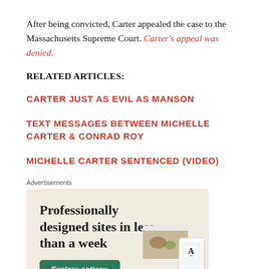After being convicted, Carter appealed the case to the Massachusetts Supreme Court. Carter's appeal was denied.
RELATED ARTICLES:
CARTER JUST AS EVIL AS MANSON
TEXT MESSAGES BETWEEN MICHELLE CARTER & CONRAD ROY
MICHELLE CARTER SENTENCED (VIDEO)
[Figure (other): Advertisement banner for a website builder service. Beige/cream background with bold serif text reading 'Professionally designed sites in less than a week', a green 'Explore options' button, and mockup images of websites and a phone on the right side.]